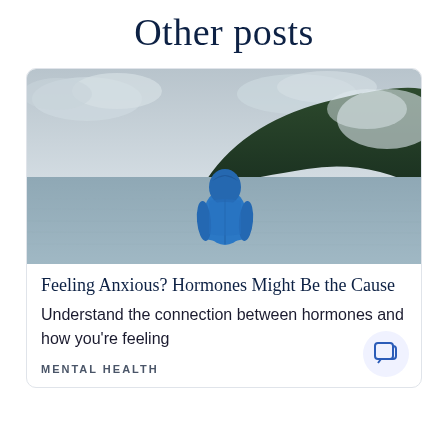Other posts
[Figure (photo): Person in a blue hooded raincoat standing at the edge of a lake, facing away from the camera, with a forested hillside and overcast sky in the background.]
Feeling Anxious? Hormones Might Be the Cause
Understand the connection between hormones and how you're feeling
MENTAL HEALTH